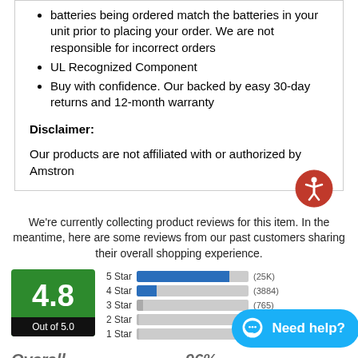batteries being ordered match the batteries in your unit prior to placing your order. We are not responsible for incorrect orders
UL Recognized Component
Buy with confidence. Our backed by easy 30-day returns and 12-month warranty
Disclaimer:
Our products are not affiliated with or authorized by Amstron
We're currently collecting product reviews for this item. In the meantime, here are some reviews from our past customers sharing their overall shopping experience.
[Figure (bar-chart): Horizontal bar chart of star ratings with a green 4.8 out of 5.0 score box]
Overall
96%